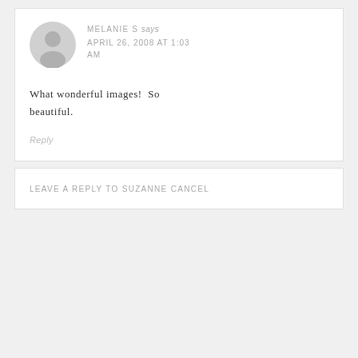[Figure (illustration): Gray default user avatar circle with person silhouette]
MELANIE S says
APRIL 26, 2008 AT 1:03 AM
What wonderful images! So beautiful.
Reply
LEAVE A REPLY TO SUZANNE CANCEL REPLY